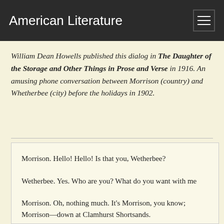American Literature
William Dean Howells published this dialog in The Daughter of the Storage and Other Things in Prose and Verse in 1916. An amusing phone conversation between Morrison (country) and Whetherbee (city) before the holidays in 1902.
Morrison. Hello! Hello! Is that you, Wetherbee?
Wetherbee. Yes. Who are you? What do you want with me
Morrison. Oh, nothing much. It's Morrison, you know; Morrison—down at Clamhurst Shortsands.
Wetherbee. Oh!